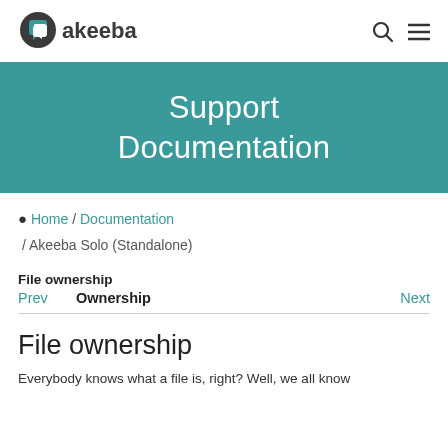[Figure (logo): Akeeba logo with stylized arrow icon and text 'akeeba']
Support Documentation
Home / Documentation / Akeeba Solo (Standalone)
File ownership
Prev   Ownership   Next
File ownership
Everybody knows what a file is, right? Well, we all know